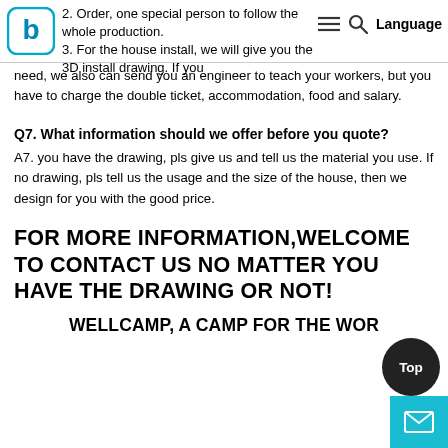2. Order, one special person to follow the whole production.
2. Order, one special person to follow the whole production.
3. For the house install, we will give you the 3D install drawing. If you need, we also can send you an engineer to teach your workers, but you have to charge the double ticket, accommodation, food and salary.
Q7. What information should we offer before you quote?
A7. you have the drawing, pls give us and tell us the material you use. If no drawing, pls tell us the usage and the size of the house, then we design for you with the good price.
FOR MORE INFORMATION,WELCOME TO CONTACT US NO MATTER YOU HAVE THE DRAWING OR NOT!
WELLCAMP, A CAMP FOR THE WOR...